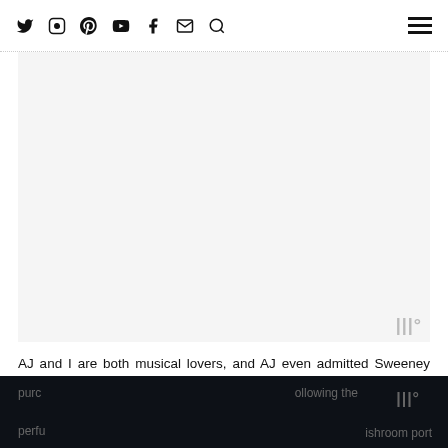Navigation bar with social icons: Twitter, Instagram, Pinterest, YouTube, Facebook, Email, Search, and hamburger menu
[Figure (other): Advertisement placeholder block with watermark logo in bottom-right corner]
AJ and I are both musical lovers, and AJ even admitted Sweeney Todd might be his favorite, so we were so excited to see Sweeney Todd on opening night at Lincoln Park. And more than just a show, our date also included dinner and dessert from Mrs. Lovett's Pie Shop (talk about an immersive experience!)
Mrs. Lovett was a little busy preparing for the show, but Fountain Pastries helped her out by baking some delicious pies for guests to purchase following the performance mushroom port